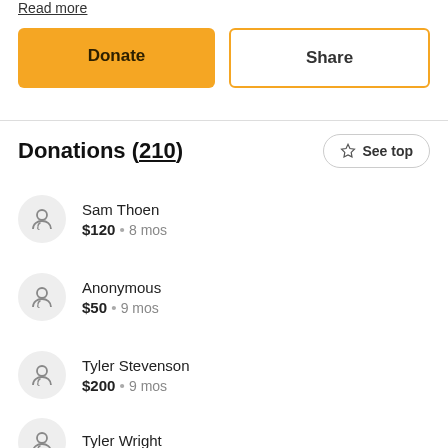Read more
Donate
Share
Donations (210)
See top
Sam Thoen $120 • 8 mos
Anonymous $50 • 9 mos
Tyler Stevenson $200 • 9 mos
Tyler Wright (partial)